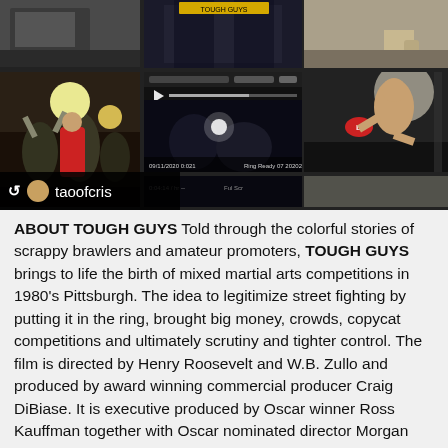[Figure (photo): Collage of photos related to TOUGH GUYS documentary: filming scenes with fighters, people celebrating with raised arms, video player screenshot, boxer in ring, and a retweet bar showing 'taoofcris']
ABOUT TOUGH GUYS Told through the colorful stories of scrappy brawlers and amateur promoters, TOUGH GUYS brings to life the birth of mixed martial arts competitions in 1980's Pittsburgh. The idea to legitimize street fighting by putting it in the ring, brought big money, crowds, copycat competitions and ultimately scrutiny and tighter control. The film is directed by Henry Roosevelt and W.B. Zullo and produced by award winning commercial producer Craig DiBiase. It is executive produced by Oscar winner Ross Kauffman together with Oscar nominated director Morgan Spurlock and his producing partner Jeremy Chlinick.